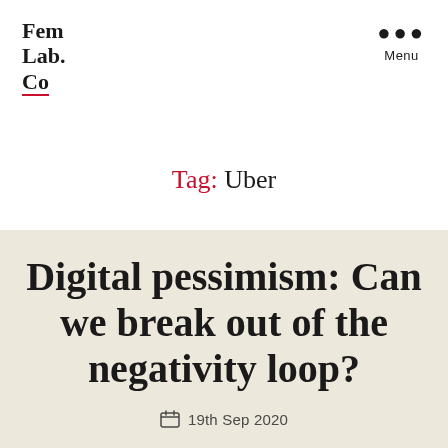Fem Lab. Co
Tag: Uber
Digital pessimism: Can we break out of the negativity loop?
19th Sep 2020